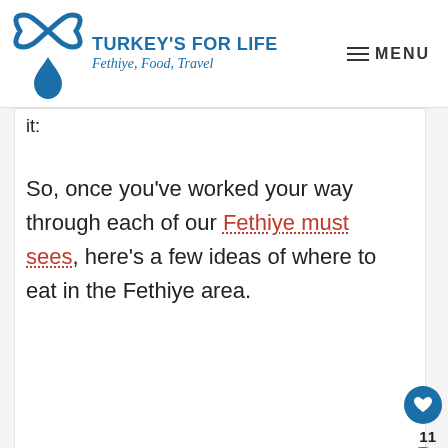TURKEY'S FOR LIFE — Fethiye, Food, Travel | MENU
it:
So, once you've worked your way through each of our Fethiye must sees, here's a few ideas of where to eat in the Fethiye area.
[Figure (photo): Pink advertisement banner with hearts and a cat image, text reading FALL IN]
[Figure (photo): Blue advertisement banner with dog image, text reading FALL IN LOVE]